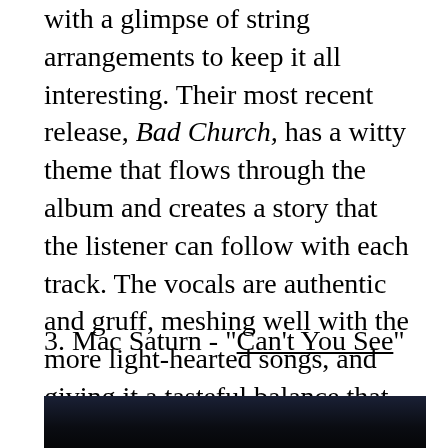with a glimpse of string arrangements to keep it all interesting. Their most recent release, Bad Church, has a witty theme that flows through the album and creates a story that the listener can follow with each track. The vocals are authentic and gruff, meshing well with the more light-hearted songs, and giving it a tasteful balance that easily bounces between twangy folk and rough n' tumble punk. The lyrics are catchy and pretty inspiring to say the least - the kind of words that stick with you after a single listen. Catch them in Kalamazoo before they start their tour on Thursday, March 24th, at Motel Hell.
3. Mac Saturn - "Can't You See"
[Figure (photo): Dark photo, partially visible at bottom of page, showing a dimly lit scene with dark blue/black tones.]